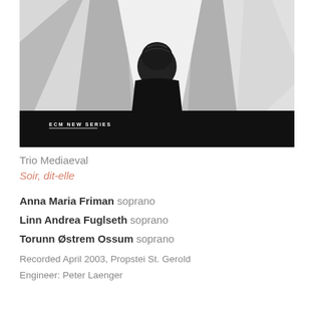[Figure (photo): Black and white photograph showing a person viewed from behind with draped fabric/curtains around them. An 'ECM NEW SERIES' label appears in the lower left area of the image on a black background.]
Trio Mediaeval
Soir, dit-elle
Anna Maria Friman soprano
Linn Andrea Fuglseth soprano
Torunn Østrem Ossum soprano
Recorded April 2003, Propstei St. Gerold
Engineer: Peter Laenger